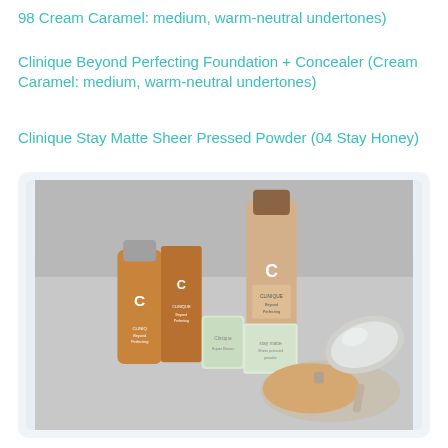98 Cream Caramel: medium, warm-neutral undertones)
Clinique Beyond Perfecting Foundation + Concealer (Cream Caramel: medium, warm-neutral undertones)
Clinique Stay Matte Sheer Pressed Powder (04 Stay Honey)
[Figure (photo): Photo of Clinique makeup products including Beyond Perfecting Foundation bottles with brown caps, packaging boxes in warm caramel tones, small sample packets, and an open Stay Matte Sheer Pressed Powder compact, all displayed on a light gray surface.]